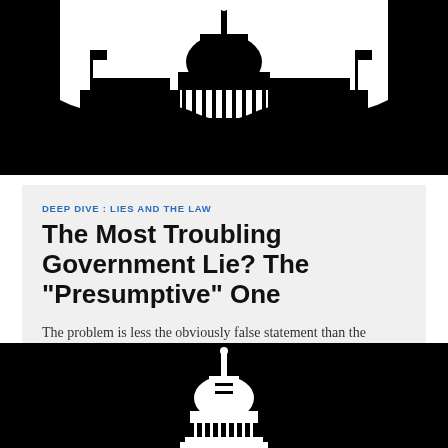[Figure (illustration): Black silhouette illustration of the US Capitol building with flags, white background, top portion of page]
DEEP DIVE : LIES AND THE LAW
The Most Troubling Government Lie? The "Presumptive" One
The problem is less the obviously false statement than the obscure “fact” that allows the government to bias or distort critical information
BY WENDY WAGNER
JANUARY 24, 2022
[Figure (illustration): Black background with white silhouette of the US Capitol building dome, bottom portion of page]